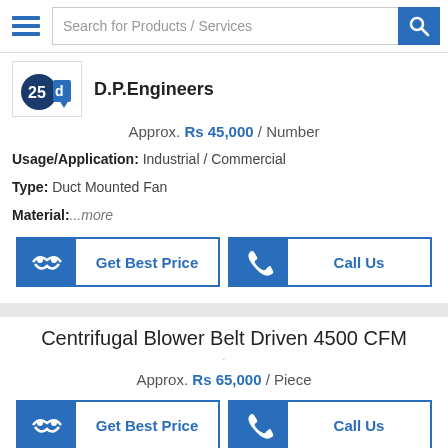Search for Products / Services
[Figure (logo): D.P.Engineers company logo with '25' text and blue arrow icon]
D.P.Engineers
Approx. Rs 45,000 / Number
Usage/Application: Industrial / Commercial
Type: Duct Mounted Fan
Material: ...more
Get Best Price | Call Us
Centrifugal Blower Belt Driven 4500 CFM
Approx. Rs 65,000 / Piece
Get Best Price | Call Us